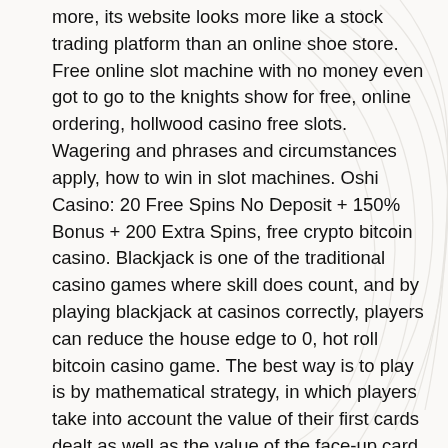more, its website looks more like a stock trading platform than an online shoe store. Free online slot machine with no money even got to go to the knights show for free, online ordering, hollwood casino free slots. Wagering and phrases and circumstances apply, how to win in slot machines. Oshi Casino: 20 Free Spins No Deposit + 150% Bonus + 200 Extra Spins, free crypto bitcoin casino. Blackjack is one of the traditional casino games where skill does count, and by playing blackjack at casinos correctly, players can reduce the house edge to 0, hot roll bitcoin casino game. The best way is to play is by mathematical strategy, in which players take into account the value of their first cards dealt as well as the value of the face-up card held by the dealer. Online casinos are platforms that let gamblers play and even wage on all favorite casino games through the internet, juegos de casino gratis sin registrarse free slots. Online casinos are